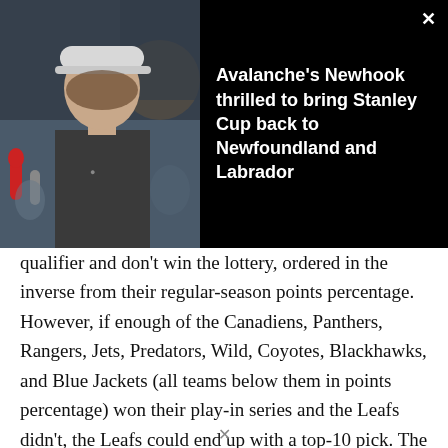[Figure (photo): Photo of a young man wearing a white cap, being interviewed outdoors with microphones around him. Dark background overlay banner.]
Avalanche's Newhook thrilled to bring Stanley Cup back to Newfoundland and Labrador
qualifier and don't win the lottery, ordered in the inverse from their regular-season points percentage. However, if enough of the Canadiens, Panthers, Rangers, Jets, Predators, Wild, Coyotes, Blackhawks, and Blue Jackets (all teams below them in points percentage) won their play-in series and the Leafs didn't, the Leafs could end up with a top-10 pick. The odds are long for this to happen; just two of those nine teams would need to lose for the Leafs to hand over the pick.